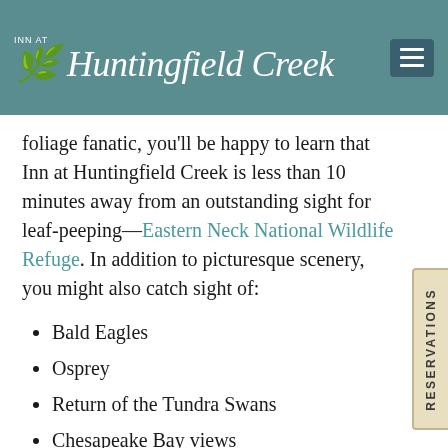INN AT Huntingfield Creek
foliage fanatic, you'll be happy to learn that Inn at Huntingfield Creek is less than 10 minutes away from an outstanding sight for leaf-peeping—Eastern Neck National Wildlife Refuge. In addition to picturesque scenery, you might also catch sight of:
Bald Eagles
Osprey
Return of the Tundra Swans
Chesapeake Bay views
3. Dine at Local Restaurants